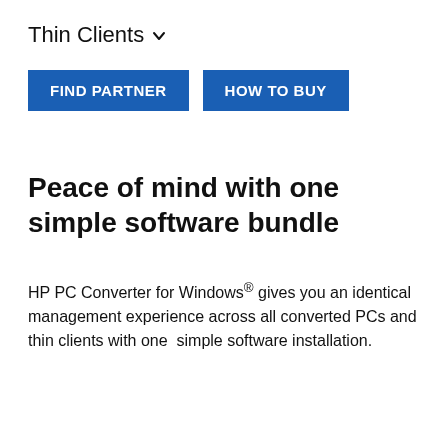Thin Clients
[Figure (other): Two blue buttons: FIND PARTNER and HOW TO BUY]
Peace of mind with one simple software bundle
HP PC Converter for Windows® gives you an identical management experience across all converted PCs and thin clients with one simple software installation.